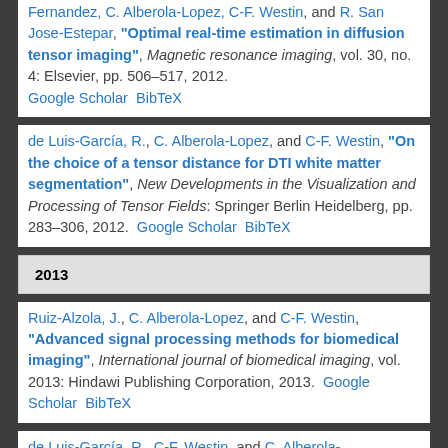Fernandez, C. Alberola-Lopez, C-F. Westin, and R. San Jose-Estepar, "Optimal real-time estimation in diffusion tensor imaging", Magnetic resonance imaging, vol. 30, no. 4: Elsevier, pp. 506–517, 2012. Google Scholar BibTeX
de Luis-García, R., C. Alberola-Lopez, and C-F. Westin, "On the choice of a tensor distance for DTI white matter segmentation", New Developments in the Visualization and Processing of Tensor Fields: Springer Berlin Heidelberg, pp. 283–306, 2012. Google Scholar BibTeX
2013
Ruiz-Alzola, J., C. Alberola-Lopez, and C-F. Westin, "Advanced signal processing methods for biomedical imaging", International journal of biomedical imaging, vol. 2013: Hindawi Publishing Corporation, 2013. Google Scholar BibTeX
de Luis-García, R., C-F. Westin, and C. Alberola-Lopez, "Geometric...